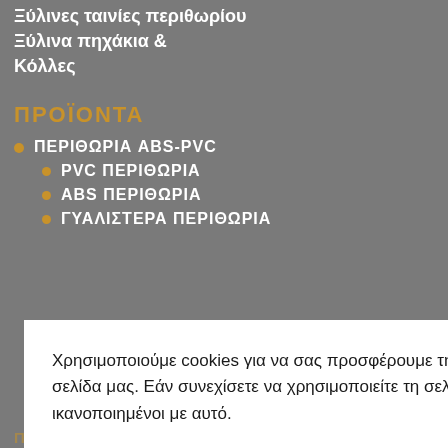Ξύλινες ταινίες περιθωρίου
Ξύλινα πηχάκια &
Κόλλες
ΠΡΟΪΟΝΤΑ
ΠΕΡΙΘΩΡΙΑ ABS-PVC
PVC ΠΕΡΙΘΩΡΙΑ
ABS ΠΕΡΙΘΩΡΙΑ
ΓΥΑΛΙΣΤΕΡΑ ΠΕΡΙΘΩΡΙΑ
Χρησιμοποιούμε cookies για να σας προσφέρουμε την καλύτερη δυνατή εμπειρία στη σελίδα μας. Εάν συνεχίσετε να χρησιμοποιείτε τη σελίδα, θα υποθέσουμε πως είστε ικανοποιημένοι με αυτό.
Cookie settings   ACCEPT
ΠΡΟΪΟΝΤΑ